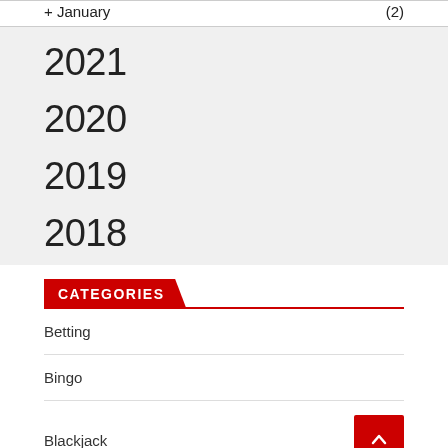+ January (2)
2021
2020
2019
2018
CATEGORIES
Betting
Bingo
Blackjack
Card Game